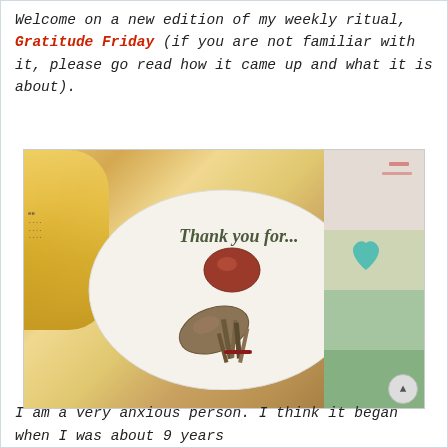Welcome on a new edition of my weekly ritual, Gratitude Friday (if you are not familiar with it, please go read how it came up and what it is about).
[Figure (photo): A white plate with 'Thank you for...' written on it, holding two decorative stones and a small bundle of dried herbs/sage. A yellow/golden bottle is visible on the left side. Colorful artwork with a teal heart shape is visible on the right.]
I am a very anxious person. I think it began when I was about 9 years